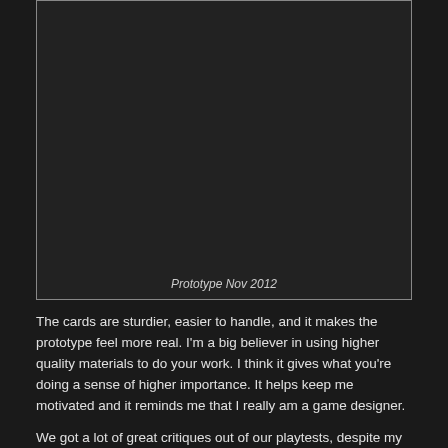[Figure (photo): Dark image of a card game prototype, with a caption 'Prototype Nov 2012' at the bottom inside the bordered box.]
The cards are sturdier, easier to handle, and it makes the prototype feel more real. I'm a big believer in using higher quality materials to do your work. I think it gives what you're doing a sense of higher importance. It helps keep me motivated and it reminds me that I really am a game designer.
We got a lot of great critiques out of our playtests, despite my